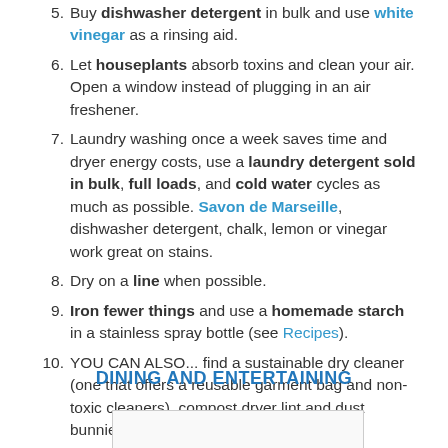5. Buy dishwasher detergent in bulk and use white vinegar as a rinsing aid.
6. Let houseplants absorb toxins and clean your air. Open a window instead of plugging in an air freshener.
7. Laundry washing once a week saves time and dryer energy costs, use a laundry detergent sold in bulk, full loads, and cold water cycles as much as possible. Savon de Marseille, dishwasher detergent, chalk, lemon or vinegar work great on stains.
8. Dry on a line when possible.
9. Iron fewer things and use a homemade starch in a stainless spray bottle (see Recipes).
10. YOU CAN ALSO... find a sustainable dry cleaner (one that offers a reusable garment bag and non-toxic cleaners), compost dryer lint and dust bunnies...
DINING AND ENTERTAINING
[Figure (other): Partial image box visible at the bottom of the page]